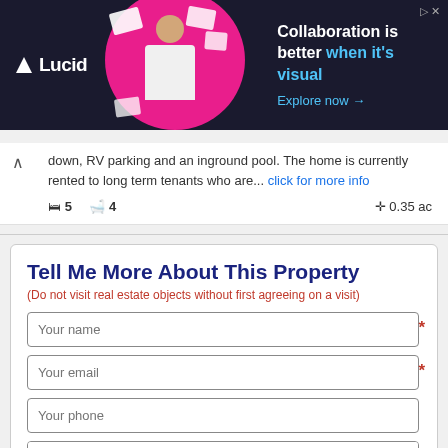[Figure (screenshot): Lucid advertisement banner: dark navy background with Lucid logo, person with floating document shapes on magenta circle, text 'Collaboration is better when it's visual' with 'Explore now →' link]
down, RV parking and an inground pool. The home is currently rented to long term tenants who are... click for more info
🛏 5   🛁 4   ✛ 0.35 ac
Tell Me More About This Property
(Do not visit real estate objects without first agreeing on a visit)
Your name
Your email
Your phone
I would like more information about 499 Sarsons Road, Kelowna, British Columbia, V1W1C5.